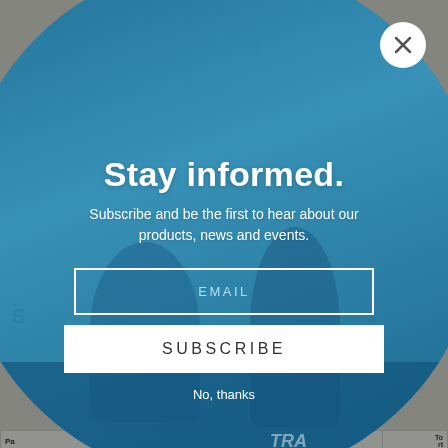[Figure (screenshot): Background of a parts catalog table page, partially visible behind a modal overlay. Shows 'S' text, arrow, and a table with rows: BNT18..., BNT2224, BN74194 with columns Part#, Description, Price, Add To Cart. Row BN74194 shows BALL BEARING 5X9X3 ARB, 3846.]
[Figure (photo): Circular modal overlay with blue tint showing two people in a boat, with a newsletter subscription form.]
Stay informed.
Subscribe and be the first to hear about our products, news and events.
EMAIL
SUBSCRIBE
No, thanks